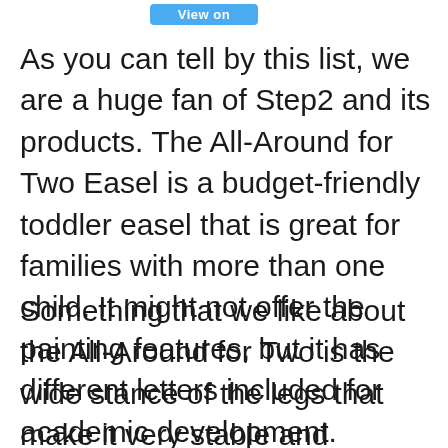[Figure (other): Blue 'View on' button at top of page]
As you can tell by this list, we are a huge fan of Step2 and its products. The All-Around for Two Easel is a budget-friendly toddler easel that is great for families with more than one child. It might not offer the painting features, but it has different letters included for academic development.
Something that we like about the All-Around for Two is the wide stance of the legs that make it very stable and secure. It decreases the chances that your child will knock it over or tip it on